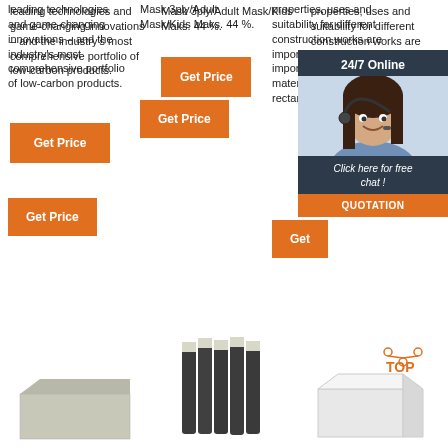leading technologies and game-changing innovations – and the industry's most comprehensive portfolio of low-carbon products.
Mask 3ply/Adult Mask/Kids Maks. 44 %.
properties, uses and suitability for different construction works are important. A brick is important construction material, generally in rectangular shape
Get Price
Get Price
24/7 Online
Click here for free chat !
QUOTATION
Get
[Figure (photo): Customer service representative photo with headset]
[Figure (photo): Gray brick/block product image]
[Figure (photo): Dark pencils/rods bundle product image]
[Figure (photo): White box/container product image with TOP badge logo]